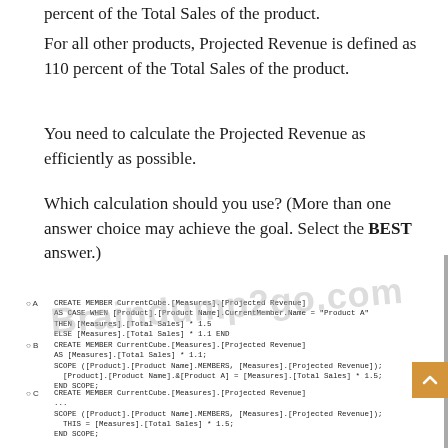percent of the Total Sales of the product.
For all other products, Projected Revenue is defined as 110 percent of the Total Sales of the product.
You need to calculate the Projected Revenue as efficiently as possible.
Which calculation should you use? (More than one answer choice may achieve the goal. Select the BEST answer.)
A. CREATE MEMBER CurrentCube.[Measures].[Projected Revenue]
   AS CASE WHEN [Product].[Product Name].CurrentMember.Name = "Product A"
   THEN [Measures].[Total Sales] * 1.5
   ELSE [Measures].[Total Sales] * 1.1 END
B. CREATE MEMBER CurrentCube.[Measures].[Projected Revenue]
   AS [Measures].[Total Sales] * 1.1;
   SCOPE ([Product].[Product Name].MEMBERS, [Measures].[Projected Revenue]);
     [Product].[Product Name].&[Product A] = [Measures].[Total Sales] * 1.5;
   END SCOPE;
C. CREATE MEMBER CurrentCube.[Measures].[Projected Revenue]
   ...
   SCOPE ([Product].[Product Name].MEMBERS, [Measures].[Projected Revenue]);
     THIS = [Measures].[Total Sales] * 1.5;
   END SCOPE;
D. CREATE MEMBER CurrentCube.[Measures].[Projected Revenue]
   AS [Measures].[Total Sales];
   SCOPE ([Product].[Product Name].MEMBERS, [Measures].[Projected Revenue]);
     [Measures].[Total Sales] * 1.1;
     IF [Product].[Product Name].CurrentMember.Name = "Product A"
       THEN [Measures].[Total Sales] * 1.5
     END IF;
   END SCOPE;